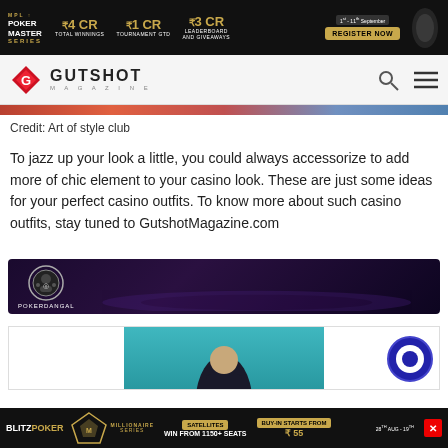[Figure (screenshot): Poker Master Series top banner ad with dark background showing ₹4 CR Total Winnings, ₹1 CR Tournament GTD, ₹3 CR Leaderboard and Giveaways, Register Now button, dates 1st-11th September]
[Figure (logo): Gutshot Magazine navigation bar with red diamond logo, site search and hamburger menu icons]
Credit: Art of style club
To jazz up your look a little, you could always accessorize to add more of chic element to your casino look. These are just some ideas for your perfect casino outfits. To know more about such casino outfits, stay tuned to GutshotMagazine.com
[Figure (screenshot): PokerDangal advertisement banner with dark purple background and PokerDangal logo]
[Figure (screenshot): Second advertisement box partially showing a woman in teal/cyan background and a circular logo on the right]
[Figure (screenshot): BlitzPoker bottom banner with Millionaire Series ad, Satellites Win from 1150+ seats, Buy-in Starts from ₹55, dates 28th Aug - 19th, close button]